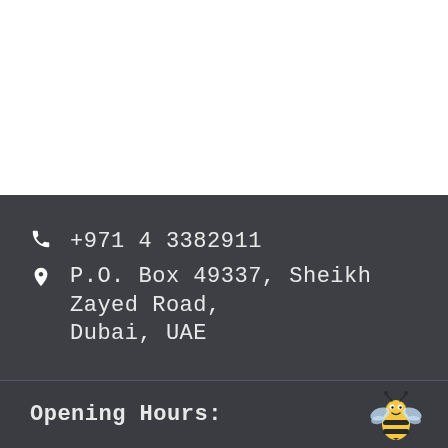+971 4 3382911
P.O. Box 49337, Sheikh Zayed Road, Dubai, UAE
Opening Hours:
[Figure (illustration): Cartoon bee illustration in yellow and black with wings and eyes]